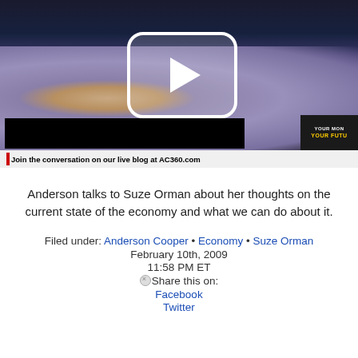[Figure (screenshot): Video thumbnail showing a woman in a blue/purple sweater on a dark TV set background, with a large white play button overlay in the center. Bottom shows a ticker bar reading 'Join the conversation on our live blog at AC360.com' with a red bar indicator. A 'YOUR MONEY YOUR FUTURE' graphics box appears in the bottom right. A black name bar appears at the bottom left.]
Anderson talks to Suze Orman about her thoughts on the current state of the economy and what we can do about it.
Filed under: Anderson Cooper • Economy • Suze Orman
February 10th, 2009
11:58 PM ET
⊗Share this on:
Facebook
Twitter